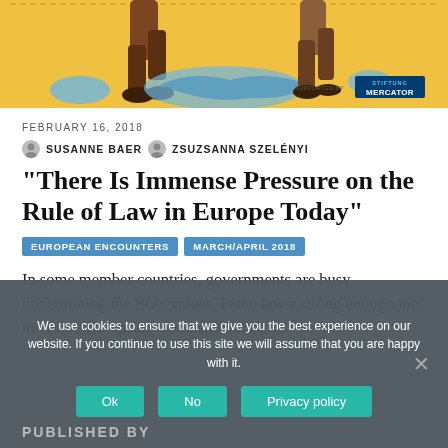[Figure (illustration): Illustrated header image showing figures on a yellow background with EU map and 'Supported by Stiftung Mercator' logo]
FEBRUARY 16, 2018
SUSANNE BAER   ZSUZSANNA SZELÉNYI
“There Is Immense Pressure on the Rule of Law in Europe Today”
EUROPEAN ENCOUNTERS   MARCH/APRIL 2018
In some member countries, governments are busy undermining the EU’s values. Is the law a strong enough tool to ensure Europeans’ fundamental rights?
We use cookies to ensure that we give you the best experience on our website. If you continue to use this site we will assume that you are happy with it.
PUBLISHED BY